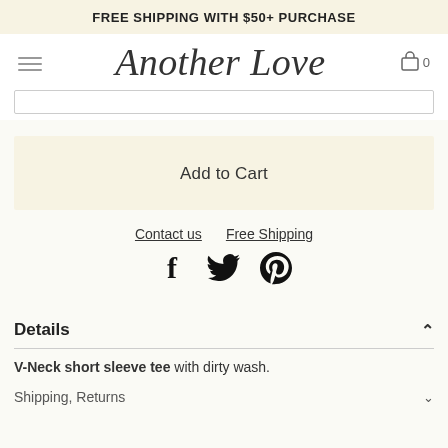FREE SHIPPING WITH $50+ PURCHASE
[Figure (logo): Another Love script logo with hamburger menu and cart icon]
Add to Cart
Contact us   Free Shipping
[Figure (illustration): Social media icons: Facebook, Twitter, Pinterest]
Details
V-Neck short sleeve tee with dirty wash.
Shipping, Returns